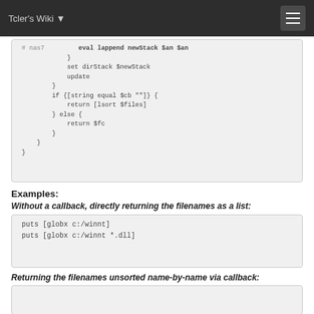Tcler's Wiki
# nas7         eval lappend newStack $an $an
            }
            set dirStack $newStack
            update
        }
        if {[string equal $cb ""]} {
            return [lsort $files]
        } else {
            return $fc
        }
    }
}
Examples:
Without a callback, directly returning the filenames as a list:
puts [globx c:/winnt]
puts [globx c:/winnt *.dll]
Returning the filenames unsorted name-by-name via callback: